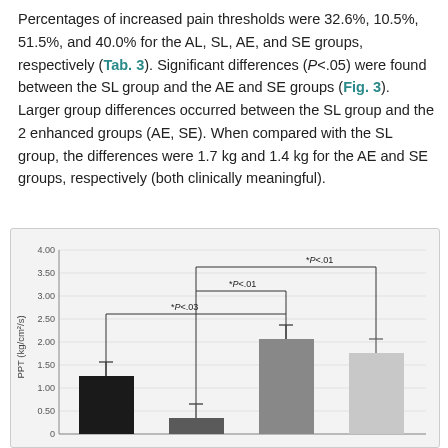Percentages of increased pain thresholds were 32.6%, 10.5%, 51.5%, and 40.0% for the AL, SL, AE, and SE groups, respectively (Tab. 3). Significant differences (P<.05) were found between the SL group and the AE and SE groups (Fig. 3). Larger group differences occurred between the SL group and the 2 enhanced groups (AE, SE). When compared with the SL group, the differences were 1.7 kg and 1.4 kg for the AE and SE groups, respectively (both clinically meaningful).
[Figure (bar-chart): ]